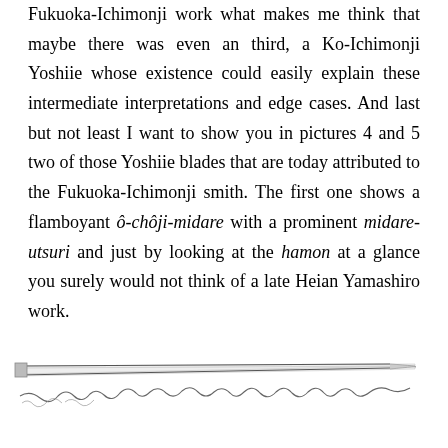Fukuoka-Ichimonji work what makes me think that maybe there was even an third, a Ko-Ichimonji Yoshiie whose existence could easily explain these intermediate interpretations and edge cases. And last but not least I want to show you in pictures 4 and 5 two of those Yoshiie blades that are today attributed to the Fukuoka-Ichimonji smith. The first one shows a flamboyant ô-chôji-midare with a prominent midare-utsuri and just by looking at the hamon at a glance you surely would not think of a late Heian Yamashiro work.
[Figure (illustration): Drawing of a Japanese sword blade (katana) shown in profile, with decorative hamon pattern illustrated below the blade as a wavy line drawing.]